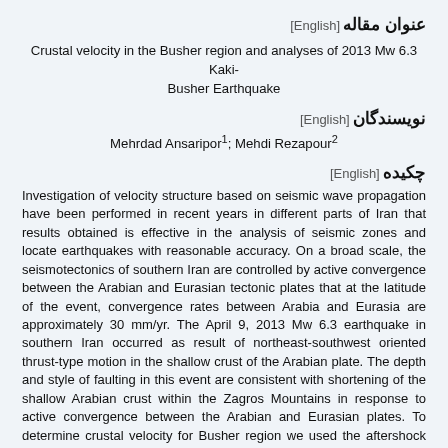عنوان مقاله [English]
Crustal velocity in the Busher region and analyses of 2013 Mw 6.3 Kaki-Busher Earthquake
نویسندگان [English]
Mehrdad Ansaripor¹; Mehdi Rezapour²
چکیده [English]
Investigation of velocity structure based on seismic wave propagation have been performed in recent years in different parts of Iran that results obtained is effective in the analysis of seismic zones and locate earthquakes with reasonable accuracy. On a broad scale, the seismotectonics of southern Iran are controlled by active convergence between the Arabian and Eurasian tectonic plates that at the latitude of the event, convergence rates between Arabia and Eurasia are approximately 30 mm/yr. The April 9, 2013 Mw 6.3 earthquake in southern Iran occurred as result of northeast-southwest oriented thrust-type motion in the shallow crust of the Arabian plate. The depth and style of faulting in this event are consistent with shortening of the shallow Arabian crust within the Zagros Mountains in response to active convergence between the Arabian and Eurasian plates. To determine crustal velocity for Busher region we used the aftershock sequence of the 2013, Mw 6.3 Kaki-Busher earthquake that widely felt in Bahrain, Iran, Kuwait, Qatar, Saudi Arabia and United Arab Emirates. Velocity structure is significant in locating and also understanding of the structure of crust. In this study, to reduce the maximum gap azimuth and locate earthquakes with more accurately were used recorded data in the Saudi Seismic Network stations. 137 aftershocks that were a reliable locating were employed to calculating the velocity model for upper crust and the data locally derived.